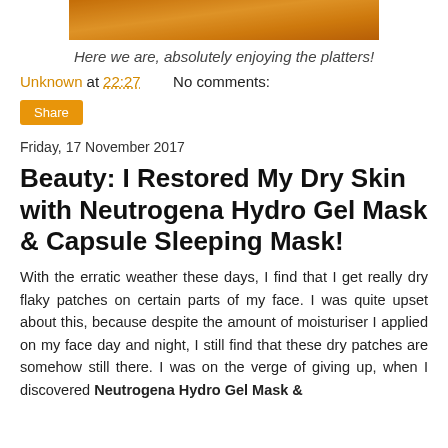[Figure (photo): A photo of food platters with warm orange/golden tones, cropped at top of page]
Here we are, absolutely enjoying the platters!
Unknown at 22:27    No comments:
Share
Friday, 17 November 2017
Beauty: I Restored My Dry Skin with Neutrogena Hydro Gel Mask & Capsule Sleeping Mask!
With the erratic weather these days, I find that I get really dry flaky patches on certain parts of my face. I was quite upset about this, because despite the amount of moisturiser I applied on my face day and night, I still find that these dry patches are somehow still there. I was on the verge of giving up, when I discovered Neutrogena Hydro Gel Mask & Capsule Sleeping Mask!